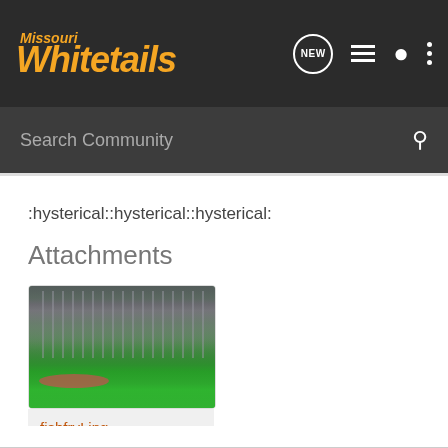Missouri Whitetails — NEW | list | user | more
:hysterical::hysterical::hysterical:
Attachments
[Figure (photo): Photo attachment thumbnail showing a fish fry setup with green tablecloth and structural beams in background]
fishfry!.jpg
316.9 KB    Views: 172